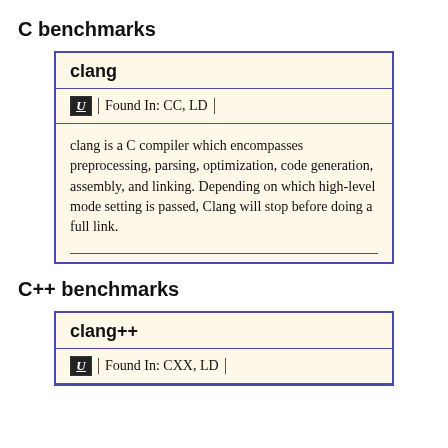C benchmarks
| clang |
| --- |
| U | Found In: CC, LD |
| clang is a C compiler which encompasses preprocessing, parsing, optimization, code generation, assembly, and linking. Depending on which high-level mode setting is passed, Clang will stop before doing a full link. |
C++ benchmarks
| clang++ |
| --- |
| U | Found In: CXX, LD |